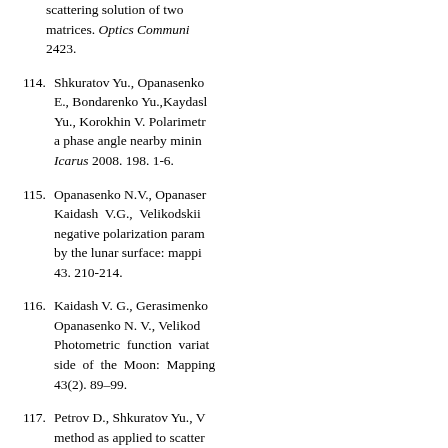scattering solution of two matrices. Optics Communications 2423.
114. Shkuratov Yu., Opanasenko E., Bondarenko Yu.,Kaydash Yu., Korokhin V. Polarimetric a phase angle nearby minimum. Icarus 2008. 198. 1-6.
115. Opanasenko N.V., Opanasenko Kaidash V.G., Velikodskii negative polarization parameters by the lunar surface: mapping 43. 210-214.
116. Kaidash V. G., Gerasimenko Opanasenko N. V., Velikod Photometric function variations side of the Moon: Mapping 43(2). 89–99.
117. Petrov D., Shkuratov Yu., method as applied to scattering Quant. Spectrosc. Rad. Transfer 1448-1459.